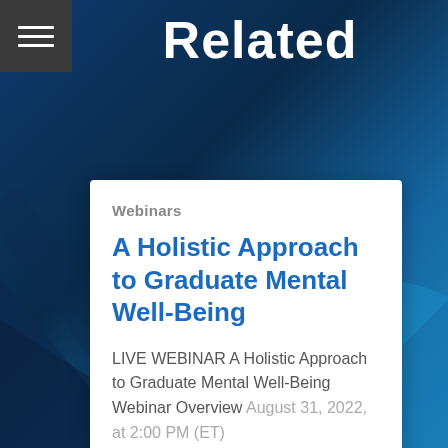Related
Webinars
A Holistic Approach to Graduate Mental Well-Being
LIVE WEBINAR A Holistic Approach to Graduate Mental Well-Being Webinar Overview August 31, 2022, at 2:00 PM (ET) | 11:00 AM (PT) The need for...
READ MORE